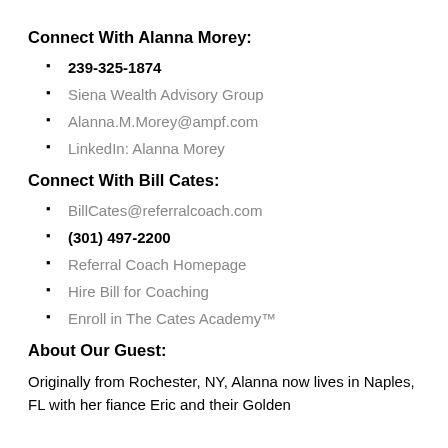Connect With Alanna Morey:
239-325-1874
Siena Wealth Advisory Group
Alanna.M.Morey@ampf.com
LinkedIn: Alanna Morey
Connect With Bill Cates:
BillCates@referralcoach.com
(301) 497-2200
Referral Coach Homepage
Hire Bill for Coaching
Enroll in The Cates Academy™
About Our Guest:
Originally from Rochester, NY, Alanna now lives in Naples, FL with her fiance Eric and their Golden